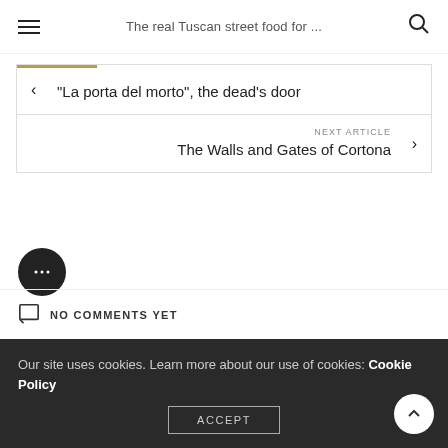The real Tuscan street food for ...
"La porta del morto", the dead's door
NEXT ARTICLE
The Walls and Gates of Cortona
[Figure (illustration): Chat/comments bubble icon — dark circle with three dots]
NO COMMENTS YET
Our site uses cookies. Learn more about our use of cookies: Cookie Policy
ACCEPT